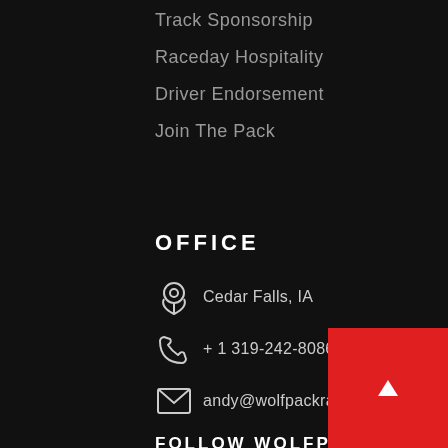Track Sponsorship
Raceday Hospitality
Driver Endorsement
Join The Pack
OFFICE
Cedar Falls, IA
+ 1 319-242-8086
andy@wolfpackracingusa.com
FOLLOW WOLFPACK
[Figure (illustration): Social media icons: Facebook, Instagram, Twitter]
[Figure (other): Red square with white upward-pointing triangle/play button in center]